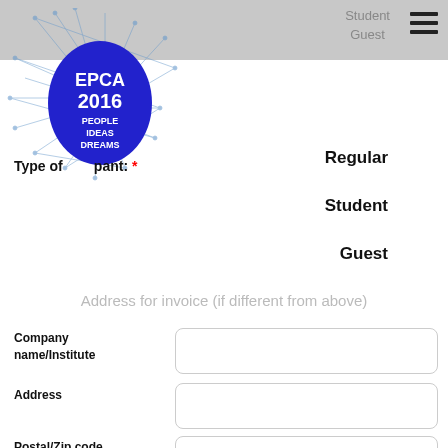Student  Guest
[Figure (logo): EPCA 2016 PEOPLE IDEAS DREAMS logo - blue oval with network graph lines]
Type of participant: * Regular Student Guest
Address for invoice (if different from above)
Company name/Institute
Address
Postal/Zip code
City